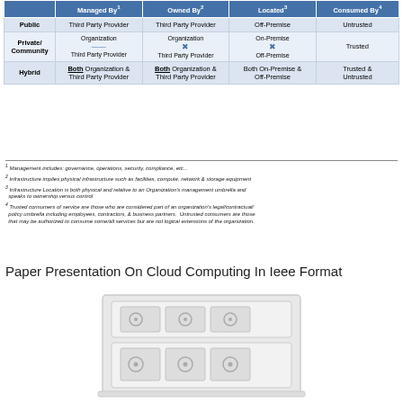|  | Managed By¹ | Owned By² | Located³ | Consumed By⁴ |
| --- | --- | --- | --- | --- |
| Public | Third Party Provider | Third Party Provider | Off-Premise | Untrusted |
| Private/Community | Organization / Third Party Provider | Organization / Third Party Provider | On-Premise / Off-Premise | Trusted |
| Hybrid | Both Organization & Third Party Provider | Both Organization & Third Party Provider | Both On-Premise & Off-Premise | Trusted & Untrusted |
¹ Management includes: governance, operations, security, compliance, etc...
² Infrastructure implies physical infrastructure such as facilities, compute, network & storage equipment
³ Infrastructure Location is both physical and relative to an Organization’s management umbrella and speaks to ownership versus control
⁴ Trusted consumers of service are those who are considered part of an organization’s legal/contractual/policy umbrella including employees, contractors, & business partners. Untrusted consumers are those that may be authorized to consume some/all services but are not logical extensions of the organization.
Paper Presentation On Cloud Computing In Ieee Format
[Figure (illustration): Illustration of server/storage hardware unit in light grey tones]